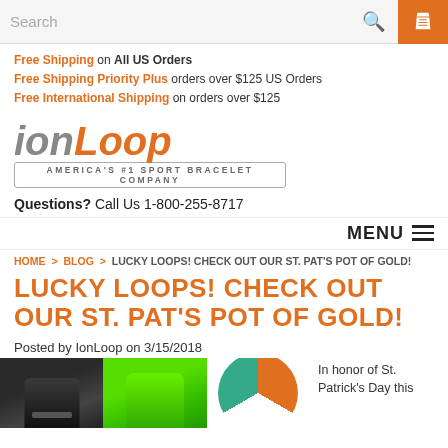Search
Free Shipping on All US Orders
Free Shipping Priority Plus orders over $125 US Orders
Free International Shipping on orders over $125
[Figure (logo): IonLoop logo — 'ion' in gray italic, 'Loop' in orange italic, tagline 'AMERICA'S #1 SPORT BRACELET COMPANY' in a rounded rectangle border]
Questions? Call Us 1-800-255-8717
MENU
HOME > BLOG > LUCKY LOOPS! CHECK OUT OUR ST. PAT'S POT OF GOLD!
LUCKY LOOPS! CHECK OUT OUR ST. PAT'S POT OF GOLD!
Posted by IonLoop on 3/15/2018
[Figure (photo): Three sport bracelets: a black bracelet, a bright green bracelet, and an orange/white/green striped bracelet]
In honor of St. Patrick's Day this